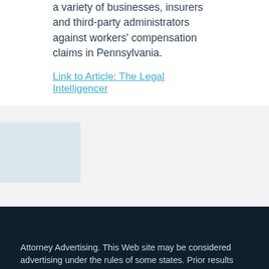a variety of businesses, insurers and third-party administrators against workers' compensation claims in Pennsylvania.
Link to Article: The Legal Intelligencer
[Figure (other): Decorative background section with light blue/grey block layout]
Attorney Advertising. This Web site may be considered advertising under the rules of some states. Prior results